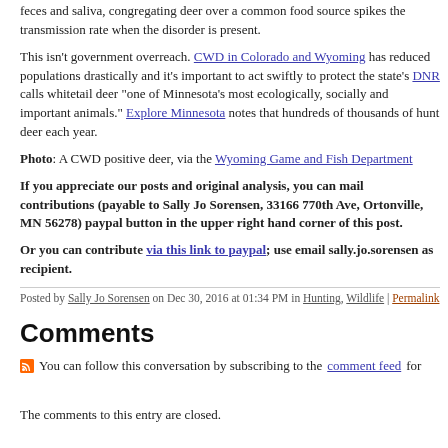feces and saliva, congregating deer over a common food source spikes the transmission rate when the disorder is present.
This isn't government overreach. CWD in Colorado and Wyoming has reduced populations drastically and it's important to act swiftly to protect the state's DNR calls whitetail deer "one of Minnesota's most ecologically, socially and important animals." Explore Minnesota notes that hundreds of thousands of hunt deer each year.
Photo: A CWD positive deer, via the Wyoming Game and Fish Department
If you appreciate our posts and original analysis, you can mail contributions (payable to Sally Jo Sorensen, 33166 770th Ave, Ortonville, MN 56278) paypal button in the upper right hand corner of this post.
Or you can contribute via this link to paypal; use email sally.jo.sorensen as recipient.
Posted by Sally Jo Sorensen on Dec 30, 2016 at 01:34 PM in Hunting, Wildlife | Permalink
Comments
You can follow this conversation by subscribing to the comment feed for
The comments to this entry are closed.